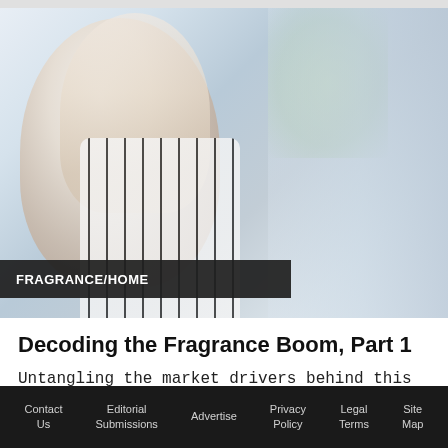[Figure (photo): Young Asian woman with long blonde hair smiling, holding a perfume bottle, wearing a striped shirt, reflected in a mirror with soft natural background]
FRAGRANCE/HOME
Decoding the Fragrance Boom, Part 1
Untangling the market drivers behind this surprisingly resilient category.
May 31st, 2022
Contact Us   Editorial Submissions   Advertise   Privacy Policy   Legal Terms   Site Map